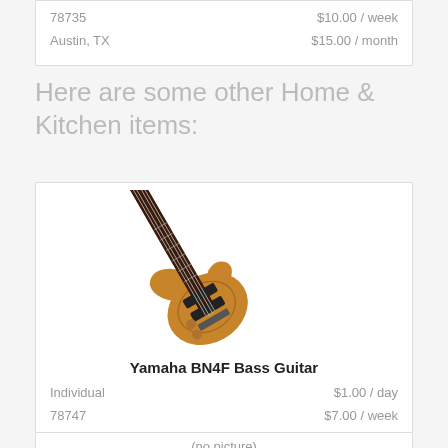| 78735 | $10.00 / week |
| Austin, TX | $15.00 / month |
Here are some other Home & Kitchen items:
[Figure (photo): Photo of a Yamaha BN4F Bass Guitar, natural wood finish, shown at an angle]
| Yamaha BN4F Bass Guitar |  |
| Individual | $1.00 / day |
| 78747 | $7.00 / week |
| Austin, TX | $15.00 / month |
(no picture)